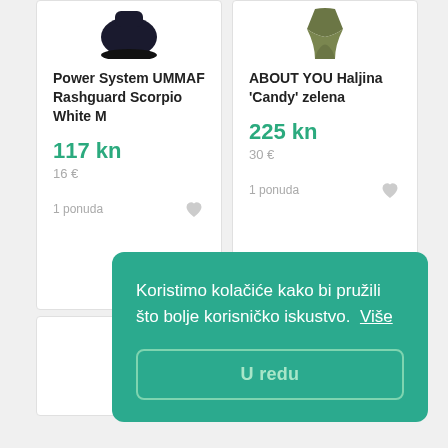[Figure (photo): Black rashguard/shirt product image (top portion visible)]
Power System UMMAF Rashguard Scorpio White M
117 kn
16 €
1 ponuda
[Figure (photo): Olive/green dress product image (top portion visible)]
ABOUT YOU Haljina 'Candy' zelena
225 kn
30 €
1 ponuda
Koristimo kolačiće kako bi pružili što bolje korisničko iskustvo.  Više
U redu